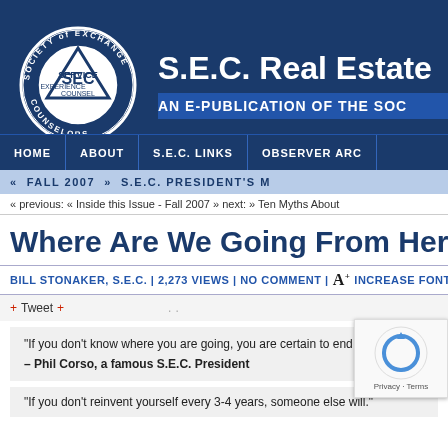[Figure (logo): Society of Exchange Counselors circular logo with triangle and SEC text in blue and white]
S.E.C. Real Estate AN E-PUBLICATION OF THE SOCIETY
HOME | ABOUT | S.E.C. LINKS | OBSERVER ARCHIVES
« FALL 2007 » S.E.C. PRESIDENT'S M
« previous: « Inside this Issue - Fall 2007 » next: » Ten Myths About
Where Are We Going From Her
BILL STONAKER, S.E.C. | 2,273 VIEWS | NO COMMENT | A+ INCREASE FONT SI
+ Tweet +
“If you don’t know where you are going, you are certain to end up some
– Phil Corso, a famous S.E.C. President
[Figure (other): reCAPTCHA widget showing recycling arrow logo with Privacy and Terms links]
“If you don’t reinvent yourself every 3-4 years, someone else will.”